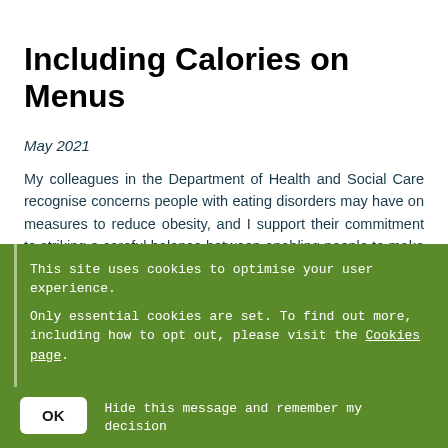Including Calories on Menus
May 2021
My colleagues in the Department of Health and Social Care recognise concerns people with eating disorders may have on measures to reduce obesity, and I support their commitment to striking a careful balance between enabling people to make healthier food and drink choices whilst not negatively impacting on those with or recovering from an eating disorder.
I understand your concerns about calorie labelling at
This site uses cookies to optimise your user experience.
Only essential cookies are set. To find out more, including how to opt out, please visit the Cookies page.
OK  Hide this message and remember my decision